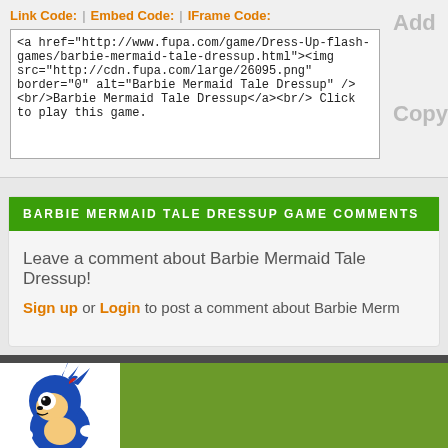Link Code: | Embed Code: | IFrame Code:
<a href="http://www.fupa.com/game/Dress-Up-flash-games/barbie-mermaid-tale-dressup.html"><img src="http://cdn.fupa.com/large/26095.png" border="0" alt="Barbie Mermaid Tale Dressup" /><br/>Barbie Mermaid Tale Dressup</a><br/> Click to play this game.
Add
Copy
BARBIE MERMAID TALE DRESSUP GAME COMMENTS
Leave a comment about Barbie Mermaid Tale Dressup!
Sign up or Login to post a comment about Barbie Merm
[Figure (illustration): Sonic the Hedgehog cartoon character illustration at bottom left corner]